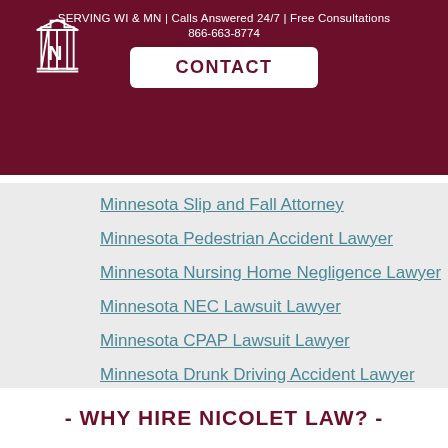SERVING WI & MN | Calls Answered 24/7 | Free Consultations
866-663-8774
CONTACT
Minnesota Slip and Fall Attorney
Minnesota Pedestrian Accident Lawyer
Minnesota Nursing Home Negligence Lawyer
Minnesota NEC Lawsuit Lawyer
Minnesota CPAP Lawsuit Lawyer
Minnesota Drunk Driving Accident Lawyer
- WHY HIRE NICOLET LAW? -